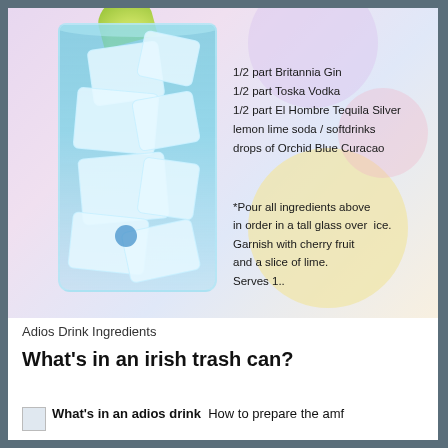[Figure (photo): A tall glass filled with light blue cocktail drink and ice cubes, garnished with a lime slice on top, set against a pastel purple and yellow decorative background. Ingredient list overlaid: 1/2 part Britannia Gin, 1/2 part Toska Vodka, 1/2 part El Hombre Tequila Silver, lemon lime soda / softdrinks, drops of Orchid Blue Curacao. Instructions: *Pour all ingredients above in order in a tall glass over ice. Garnish with cherry fruit and a slice of lime. Serves 1..]
Adios Drink Ingredients
What’s in an irish trash can?
What’s in an adios drink  How to prepare the amf